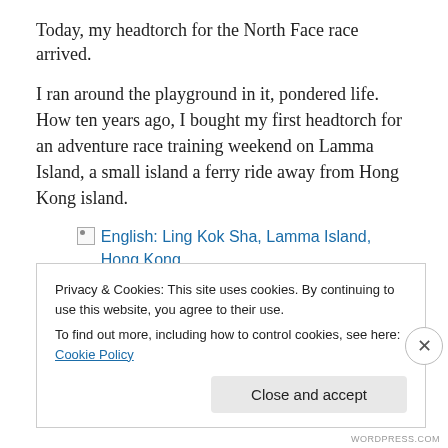Today, my headtorch for the North Face race arrived.
I ran around the playground in it, pondered life.  How ten years ago, I bought my first headtorch for an adventure race training weekend on Lamma Island, a small island a ferry ride away from Hong Kong island.
[Figure (photo): Broken image placeholder with alt text: English: Ling Kok Sha, Lamma Island, Hong Kong...]
Privacy & Cookies: This site uses cookies. By continuing to use this website, you agree to their use.
To find out more, including how to control cookies, see here: Cookie Policy
Close and accept
WORDPRESS.COM